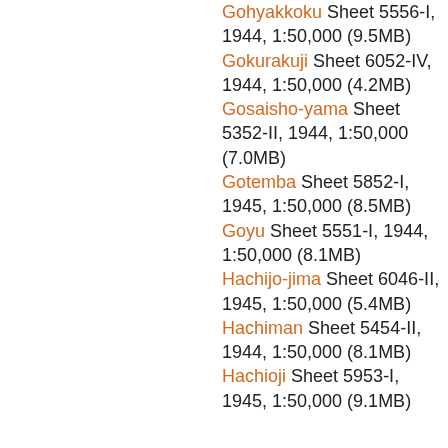Gohyakkoku Sheet 5556-I, 1944, 1:50,000 (9.5MB)
Gokurakuji Sheet 6052-IV, 1944, 1:50,000 (4.2MB)
Gosaisho-yama Sheet 5352-II, 1944, 1:50,000 (7.0MB)
Gotemba Sheet 5852-I, 1945, 1:50,000 (8.5MB)
Goyu Sheet 5551-I, 1944, 1:50,000 (8.1MB)
Hachijo-jima Sheet 6046-II, 1945, 1:50,000 (5.4MB)
Hachiman Sheet 5454-II, 1944, 1:50,000 (8.1MB)
Hachioji Sheet 5953-I, 1945, 1:50,000 (9.1MB)